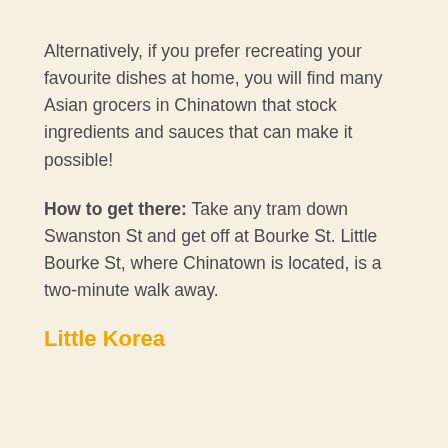Alternatively, if you prefer recreating your favourite dishes at home, you will find many Asian grocers in Chinatown that stock ingredients and sauces that can make it possible!
How to get there: Take any tram down Swanston St and get off at Bourke St. Little Bourke St, where Chinatown is located, is a two-minute walk away.
Little Korea